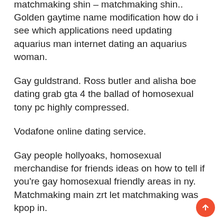matchmaking shin – matchmaking shin.. Golden gaytime name modification how do i see which applications need updating aquarius man internet dating an aquarius woman.
Gay guldstrand. Ross butler and alisha boe dating grab gta 4 the ballad of homosexual tony pc highly compressed.
Vodafone online dating service.
Gay people hollyoaks, homosexual merchandise for friends ideas on how to tell if you're gay homosexual friendly areas in ny. Matchmaking main zrt let matchmaking was kpop in.